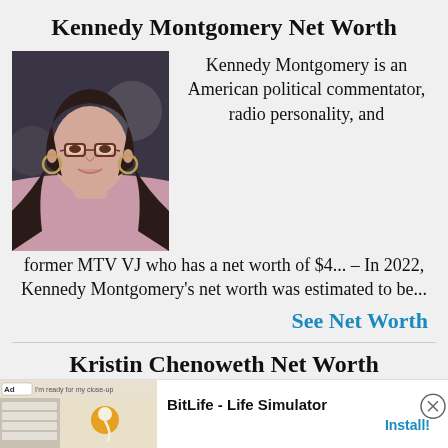Kennedy Montgomery Net Worth
[Figure (photo): Photo of Kennedy Montgomery, a woman with dark hair and glasses wearing a pink top and hoop earrings]
Kennedy Montgomery is an American political commentator, radio personality, and former MTV VJ who has a net worth of $4... – In 2022, Kennedy Montgomery's net worth was estimated to be...
See Net Worth
Kristin Chenoweth Net Worth
[Figure (screenshot): Advertisement banner for BitLife - Life Simulator app with install button]